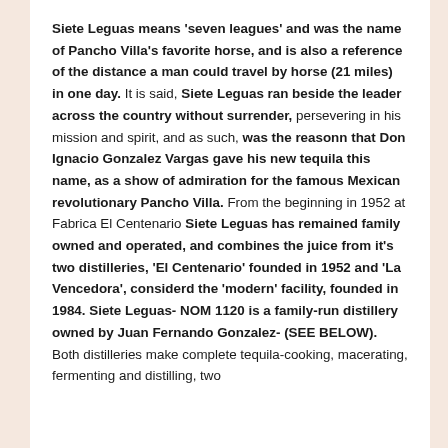Siete Leguas means 'seven leagues' and was the name of Pancho Villa's favorite horse, and is also a reference of the distance a man could travel by horse (21 miles) in one day. It is said, Siete Leguas ran beside the leader across the country without surrender, persevering in his mission and spirit, and as such, was the reasonn that Don Ignacio Gonzalez Vargas gave his new tequila this name, as a show of admiration for the famous Mexican revolutionary Pancho Villa. From the beginning in 1952 at Fabrica El Centenario Siete Leguas has remained family owned and operated, and combines the juice from it's two distilleries, 'El Centenario' founded in 1952 and 'La Vencedora', considerd the 'modern' facility, founded in 1984. Siete Leguas- NOM 1120 is a family-run distillery owned by Juan Fernando Gonzalez- (SEE BELOW). Both distilleries make complete tequila-cooking, macerating, fermenting and distilling, two